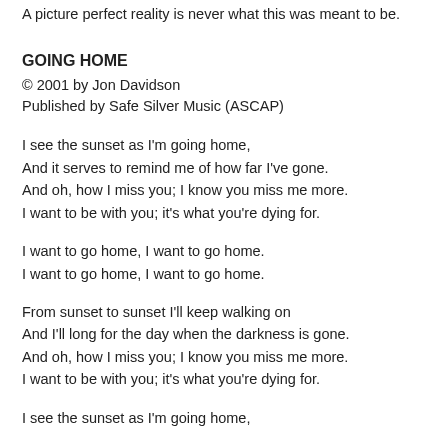A picture perfect reality is never what this was meant to be.
GOING HOME
© 2001 by Jon Davidson
Published by Safe Silver Music (ASCAP)
I see the sunset as I'm going home,
And it serves to remind me of how far I've gone.
And oh, how I miss you; I know you miss me more.
I want to be with you; it's what you're dying for.
I want to go home, I want to go home.
I want to go home, I want to go home.
From sunset to sunset I'll keep walking on
And I'll long for the day when the darkness is gone.
And oh, how I miss you; I know you miss me more.
I want to be with you; it's what you're dying for.
I see the sunset as I'm going home,